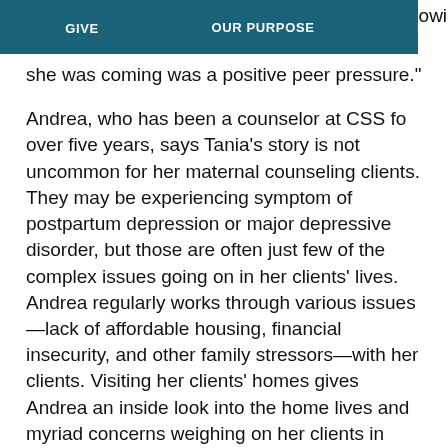GIVE | OUR PURPOSE | EVENTS
she was coming was a positive peer pressure."
Andrea, who has been a counselor at CSS for over five years, says Tania's story is not uncommon for her maternal counseling clients. They may be experiencing symptoms of postpartum depression or major depressive disorder, but those are often just few of the complex issues going on in her clients' lives. Andrea regularly works through various issues—lack of affordable housing, financial insecurity, and other family stressors—with her clients. Visiting her clients' homes gives Andrea an inside look into the home lives and myriad concerns weighing on her clients in addition to their specific mental health needs.
Andrea regularly strives to fill...